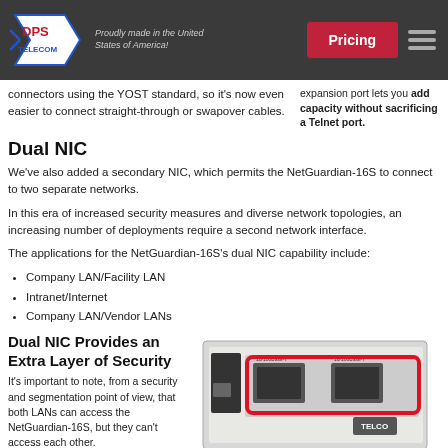DPS Telecom — Proudly made in the United States of America! | Pricing
connectors using the YOST standard, so it's now even easier to connect straight-through or swapover cables.
expansion port lets you add capacity without sacrificing a Telnet port.
Dual NIC
We've also added a secondary NIC, which permits the NetGuardian-16S to connect to two separate networks.
In this era of increased security measures and diverse network topologies, an increasing number of deployments require a second network interface.
The applications for the NetGuardian-16S's dual NIC capability include:
Company LAN/Facility LAN
Intranet/Internet
Company LAN/Vendor LANs
Dual NIC Provides an Extra Layer of Security
It's important to note, from a security and segmentation point of view, that both LANs can access the NetGuardian-16S, but they can't access each other.
[Figure (photo): Photo of a NetGuardian-16S device front panel showing two Ethernet ports highlighted with a red rounded rectangle, and a TELCO label below.]
Two Ethernet ports for